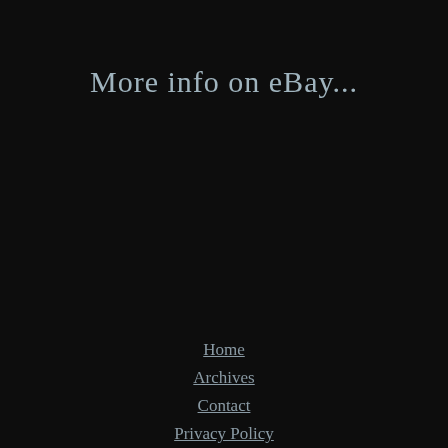More info on eBay...
Home
Archives
Contact
Privacy Policy
Service Agreement